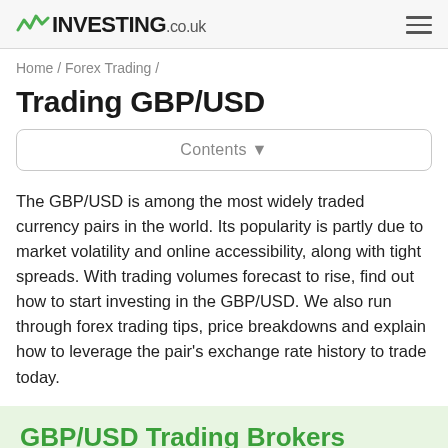INVESTING.co.uk
Home / Forex Trading /
Trading GBP/USD
Contents ▼
The GBP/USD is among the most widely traded currency pairs in the world. Its popularity is partly due to market volatility and online accessibility, along with tight spreads. With trading volumes forecast to rise, find out how to start investing in the GBP/USD. We also run through forex trading tips, price breakdowns and explain how to leverage the pair's exchange rate history to trade today.
GBP/USD Trading Brokers